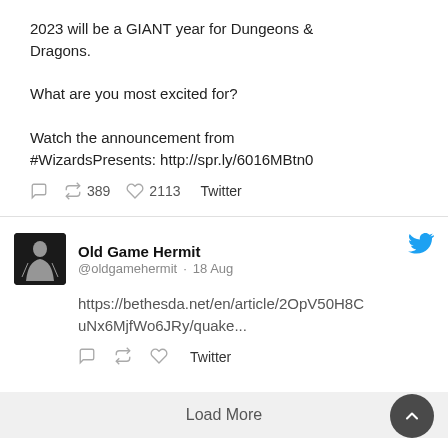2023 will be a GIANT year for Dungeons & Dragons.

What are you most excited for?

Watch the announcement from #WizardsPresents: http://spr.ly/6016MBtn0
389  2113  Twitter
Old Game Hermit @oldgamehermit · 18 Aug
https://bethesda.net/en/article/2OpV50H8CuNx6MjfWo6JRy/quake...
Twitter
Load More